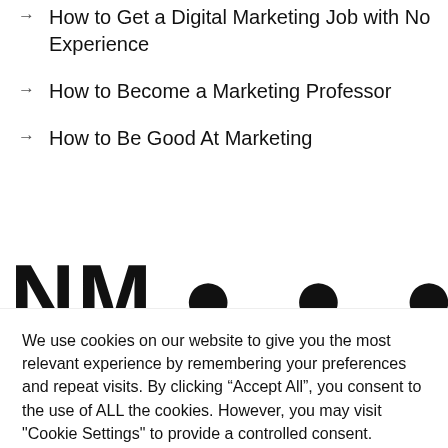How to Get a Digital Marketing Job with No Experience
How to Become a Marketing Professor
How to Be Good At Marketing
[Figure (other): Partially visible large bold letters at the bottom of the main content area, cropped]
We use cookies on our website to give you the most relevant experience by remembering your preferences and repeat visits. By clicking “Accept All”, you consent to the use of ALL the cookies. However, you may visit "Cookie Settings" to provide a controlled consent.